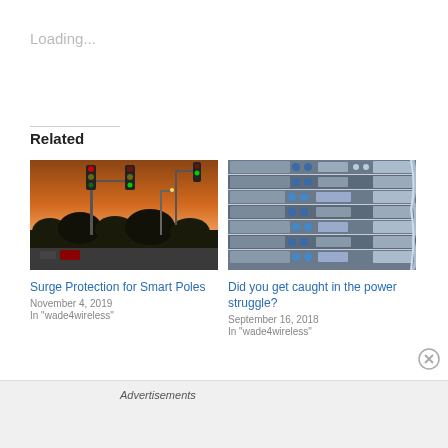Loading...
Related
[Figure (photo): Traffic intersection at sunset with green traffic lights]
Surge Protection for Smart Poles
November 4, 2019
In "wade4wireless"
[Figure (photo): Rack-mounted telecom equipment with cables and blue connectors]
Did you get caught in the power struggle?
September 16, 2018
In "wade4wireless"
Advertisements